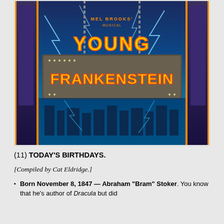[Figure (illustration): Theatrical poster for 'Mel Brooks' Musical Young Frankenstein' showing the show title in large illuminated yellow and orange letters against a blue lightning-filled background with Gothic architecture and chains.]
(11) TODAY'S BIRTHDAYS.
[Compiled by Cat Eldridge.]
Born November 8, 1847 — Abraham "Bram" Stoker. You know that he's author of Dracula but did